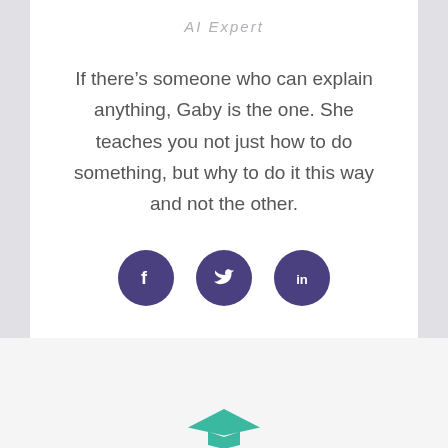AI Expert
If there’s someone who can explain anything, Gaby is the one. She teaches you not just how to do something, but why to do it this way and not the other.
[Figure (infographic): Three circular social media icon buttons: Facebook (f), Twitter (bird), and LinkedIn (in), all in dark purple/indigo color]
[Figure (logo): Teal/turquoise graduation cap hat icon at the bottom of the page]